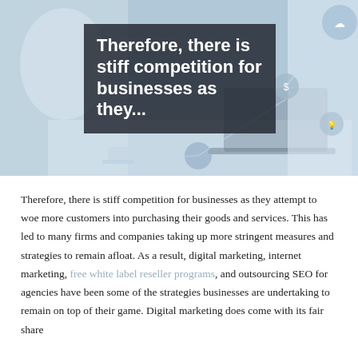[Figure (photo): Photo of a person in a white coat working at a desk with technology/digital connectivity icons overlaid, with a dark semi-transparent box containing white title text reading 'Therefore, there is stiff competition for businesses as they...']
Therefore, there is stiff competition for businesses as they attempt to woe more customers into purchasing their goods and services. This has led to many firms and companies taking up more stringent measures and strategies to remain afloat. As a result, digital marketing, internet marketing, free white label reseller programs, and outsourcing SEO for agencies have been some of the strategies businesses are undertaking to remain on top of their game. Digital marketing does come with its fair share